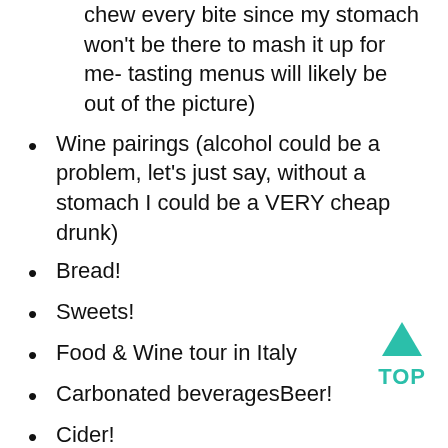chew every bite since my stomach won't be there to mash it up for me- tasting menus will likely be out of the picture)
Wine pairings (alcohol could be a problem, let's just say, without a stomach I could be a VERY cheap drunk)
Bread!
Sweets!
Food & Wine tour in Italy
Carbonated beveragesBeer!
Cider!
COFFEE!
Enjoy not having to chew each bite a million times